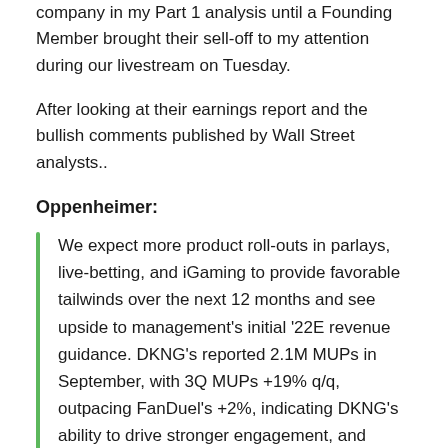company in my Part 1 analysis until a Founding Member brought their sell-off to my attention during our livestream on Tuesday.
After looking at their earnings report and the bullish comments published by Wall Street analysts..
Oppenheimer:
We expect more product roll-outs in parlays, live-betting, and iGaming to provide favorable tailwinds over the next 12 months and see upside to management's initial ‘22E revenue guidance. DKNG’s reported 2.1M MUPs in September, with 3Q MUPs +19% q/q, outpacing FanDuel’s +2%, indicating DKNG’s ability to drive stronger engagement, and representing a similar strategy to its DFS playbook. Expecting an aggressive CAC